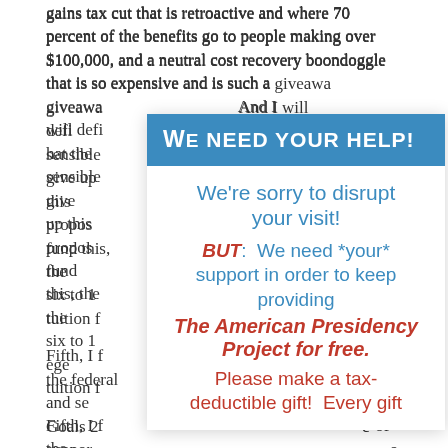gains tax cut that is retroactive and where 70 percent of the benefits go to people making over $100,000, and a neutral cost recovery boondoggle that is so expensive and is such a giveawa... And I will defi... hat the sensible... to give up this ... is propos... o fund this, the... the six to 1... ege tuition f...
[Figure (infographic): Modal overlay popup with blue header 'WE NEED YOUR HELP!' and white body containing red and blue text: 'We're sorry to disrupt your visit! BUT: We need *your* support in order to keep providing The American Presidency Project for free. Please make a tax-deductible gift! Every gift']
Fifth, I f... of the federal... ntary and se... g in Goals 2... c suppor... o take place a... 2000 that is being attacked is a straw man. The Goals 2000 that Secretary Riley and the Republicans helped support is one where the federal government plays a leadership role, but in